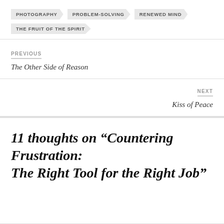PHOTOGRAPHY
PROBLEM-SOLVING
RENEWED MIND
THE FRUIT OF THE SPIRIT
PREVIOUS
The Other Side of Reason
NEXT
Kiss of Peace
11 thoughts on “Countering Frustration: The Right Tool for the Right Job”